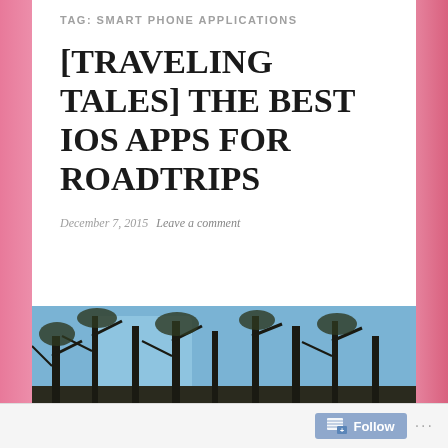TAG: SMART PHONE APPLICATIONS
[TRAVELING TALES] THE BEST IOS APPS FOR ROADTRIPS
December 7, 2015   Leave a comment
[Figure (photo): Photo looking up at bare winter trees against a blue sky]
Follow · ...